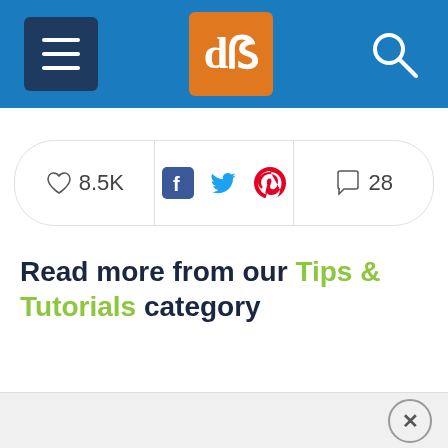dPS header navigation bar with hamburger menu, dPS logo, and search icon
[Figure (infographic): Social sharing bar showing heart/like count 8.5K, Facebook, Twitter, Pinterest icons, and comment count 28]
Read more from our Tips & Tutorials category